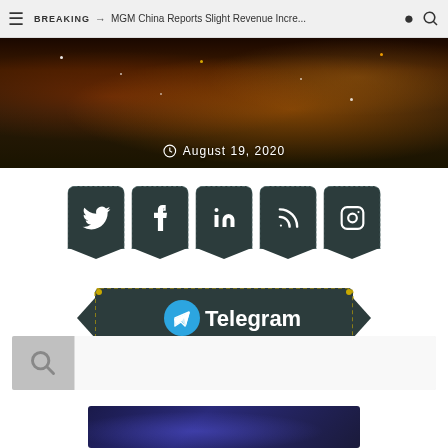≡  BREAKING → MGM China Reports Slight Revenue Incre...  👤  🔍
[Figure (photo): Dark fireworks/bokeh night scene hero image with date overlay: August 19, 2020]
August 19, 2020
[Figure (infographic): Five dark pocket-shaped social media icons: Twitter, Facebook, LinkedIn, RSS, Instagram]
[Figure (infographic): Dark leather-style banner with Telegram logo and text 'Telegram']
[Figure (infographic): Search bar with magnifying glass icon on gray background]
[Figure (photo): Partial view of dark blue/purple image at bottom of page]